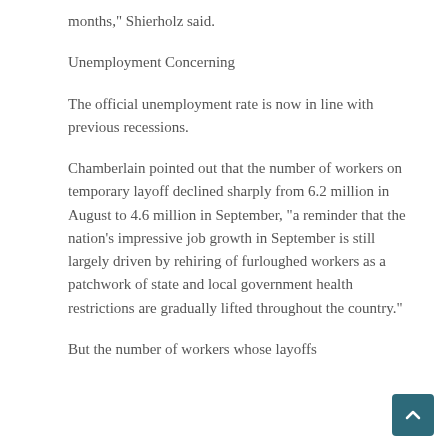months," Shierholz said.
Unemployment Concerning
The official unemployment rate is now in line with previous recessions.
Chamberlain pointed out that the number of workers on temporary layoff declined sharply from 6.2 million in August to 4.6 million in September, "a reminder that the nation's impressive job growth in September is still largely driven by rehiring of furloughed workers as a patchwork of state and local government health restrictions are gradually lifted throughout the country."
But the number of workers whose layoffs